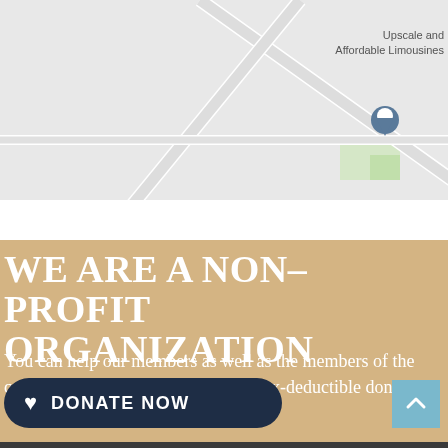[Figure (map): Google-style street map showing road intersections with a location pin marker and text label 'Upscale and Affordable Limousines' in the upper right area]
WE ARE A NON–PROFIT ORGANIZATION
You can help our members as well as the members of the community we server by making a tax-deductible donation!
DONATE NOW